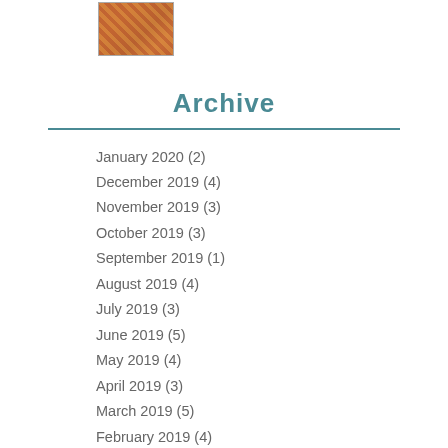[Figure (photo): Small thumbnail image with warm orange/brown tones, appears to be an artistic or decorative image]
Archive
January 2020 (2)
December 2019 (4)
November 2019 (3)
October 2019 (3)
September 2019 (1)
August 2019 (4)
July 2019 (3)
June 2019 (5)
May 2019 (4)
April 2019 (3)
March 2019 (5)
February 2019 (4)
January 2019 (4)
December 2018 (5)
November 2018 (4)
October 2018 (3)